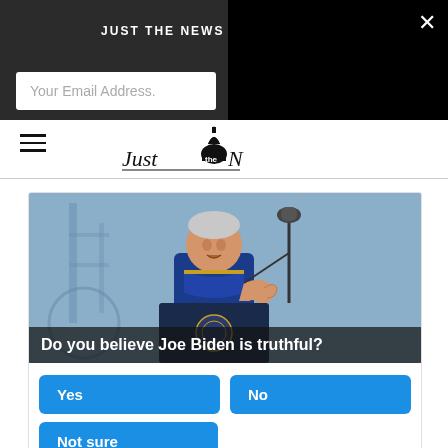JUST THE NEWS IN YOUR INBOX
Your Email Address.
[Figure (screenshot): Black overlay popup panel on right side with close X button]
[Figure (logo): Just the News logo with Capitol dome silhouette]
[Figure (photo): Person in blue academic regalia speaking at a podium with microphone]
Do you believe Joe Biden is truthful?
Yes
No
Not sure
1,138 Votes  •  Sponsored Ad